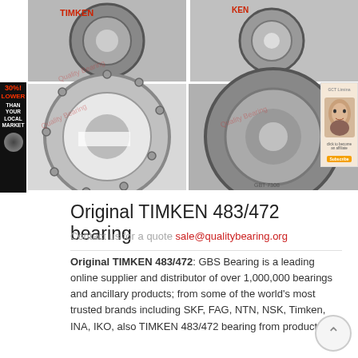[Figure (photo): Four product photos of TIMKEN 483/472 tapered roller bearings arranged in a 2x2 grid. Top row shows two bearing photos. Bottom row shows a large ring bearing component on the left and a deep groove ball bearing on the right.]
[Figure (infographic): Side banner: black background with red text '30%! LOWER' and white text 'THAN YOUR LOCAL MARKET' with a bearing icon at the bottom.]
[Figure (photo): Small advertisement banner on the right side showing a person's face.]
Original TIMKEN 483/472 bearing
Contact us for a quote sale@qualitybearing.org
Original TIMKEN 483/472: GBS Bearing is a leading online supplier and distributor of over 1,000,000 bearings and ancillary products; from some of the world's most trusted brands including SKF, FAG, NTN, NSK, Timken, INA, IKO, also TIMKEN 483/472 bearing from products.